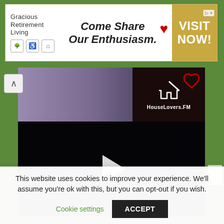[Figure (screenshot): Advertisement banner for Gracious Retirement Living with tagline 'Come Share Our Enthusiasm.' and gold VISIT NOW! CTA button]
[Figure (screenshot): HouseLovers.FM website screenshot showing banner strip with logo and a black video player with play button]
This website uses cookies to improve your experience. We'll assume you're ok with this, but you can opt-out if you wish.
Cookie settings
ACCEPT